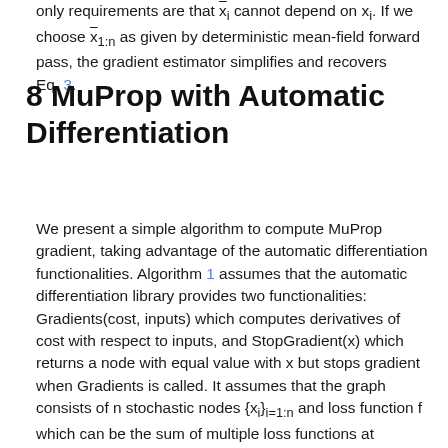only requirements are that ¯x_i cannot depend on x_i. If we choose ¯x_{1:n} as given by deterministic mean-field forward pass, the gradient estimator simplifies and recovers Eq. 3.
8 MuProp with Automatic Differentiation
We present a simple algorithm to compute MuProp gradient, taking advantage of the automatic differentiation functionalities. Algorithm 1 assumes that the automatic differentiation library provides two functionalities: Gradients(cost, inputs) which computes derivatives of cost with respect to inputs, and StopGradient(x) which returns a node with equal value with x but stops gradient when Gradients is called. It assumes that the graph consists of n stochastic nodes {x_i}_{i=1:n} and loss function f which can be the sum of multiple loss functions at different parts of the graph. PARENTS_{x_i} denotes the stochastic parental nodes of x_i. ForwardPass builds the symbolic graph whose outputs can be differentiated using Gradients. When stochastic=true, each stochastic node samples the value and wraps the value using StopGradient such that no